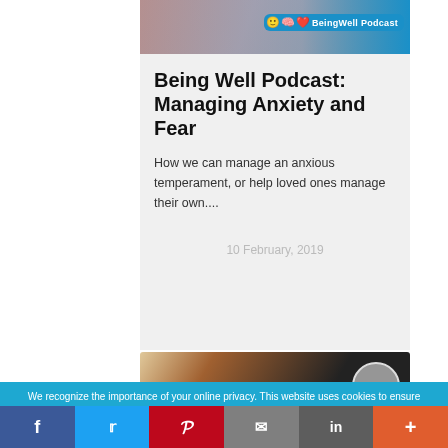[Figure (photo): Being Well Podcast banner image with podcast logo badge on blue background]
Being Well Podcast: Managing Anxiety and Fear
How we can manage an anxious temperament, or help loved ones manage their own....
10 February, 2019
[Figure (photo): Partial view of second card with dark background image]
We recognize the importance of your online privacy. This website uses cookies to ensure you get the best experience.
f  Twitter  P  Email  in  +